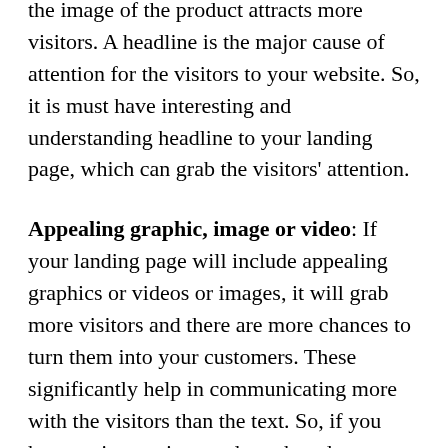the image of the product attracts more visitors. A headline is the major cause of attention for the visitors to your website. So, it is must have interesting and understanding headline to your landing page, which can grab the visitors' attention.
Appealing graphic, image or video: If your landing page will include appealing graphics or videos or images, it will grab more visitors and there are more chances to turn them into your customers. These significantly help in communicating more with the visitors than the text. So, if you have an interesting product, then do ensure to use its image on the landing page. This significantly helps in increasing the visual appeal of the landing page as well as encouraging the reputation of your business. It